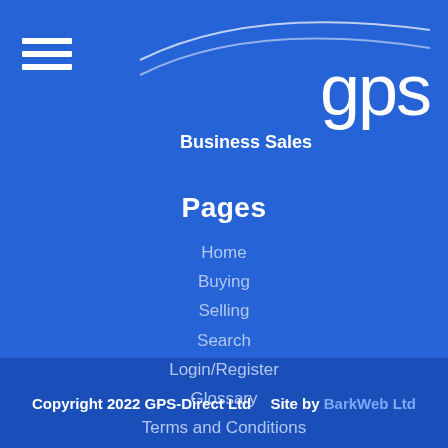[Figure (logo): GPS Business Sales logo with curved swoosh lines and 'gps' text in large white letters, 'Business Sales' in bold white below the swoosh]
Pages
Home
Buying
Selling
Search
Login/Register
Glossary
Terms and Conditions
Privacy Policy
Contact
Copyright 2022 GPS-Direct Ltd   Site by BarkWeb Ltd